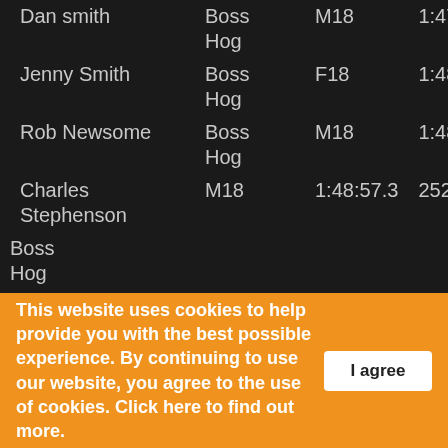| Name | Team | Category | Time | Pos |
| --- | --- | --- | --- | --- |
| Dan smith | Boss Hog | M18 | 1:47:33.2 | 249 |
| Jenny Smith | Boss Hog | F18 | 1:48:21.3 | 250 |
| Rob Newsome | Boss Hog | M18 | 1:48:56.9 | 251 |
| Charles Stephenson | Boss Hog | M18 | 1:48:57.3 | 252 |
| Elliot Stephenson | Boss Hog | M18 | 1:48:59.9 | 253 |
| Kevin Stephenson | Boss Hog | M40 | 1:49:01.6 | 254 |
| Rachel bowman | Boss Hog | F40 | 1:49:12.7 | 255 |
This website uses cookies to help provide you with the best possible experience. By continuing to use our website, you agree to the use of cookies. Click here to find out more.